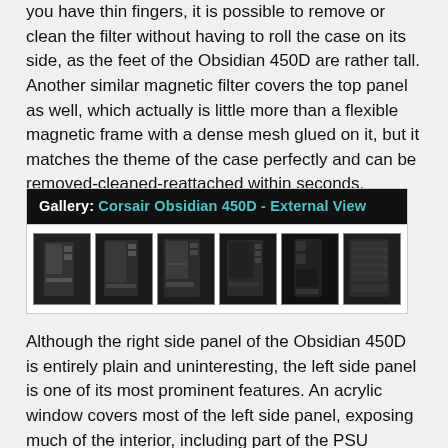you have thin fingers, it is possible to remove or clean the filter without having to roll the case on its side, as the feet of the Obsidian 450D are rather tall. Another similar magnetic filter covers the top panel as well, which actually is little more than a flexible magnetic frame with a dense mesh glued on it, but it matches the theme of the case perfectly and can be removed-cleaned-reattached within seconds.
[Figure (screenshot): Gallery banner reading 'Gallery: Corsair Obsidian 450D - External View' with six thumbnail images of the Corsair Obsidian 450D case showing external views from various angles.]
Although the right side panel of the Obsidian 450D is entirely plain and uninteresting, the left side panel is one of its most prominent features. An acrylic window covers most of the left side panel, exposing much of the interior, including part of the PSU compartment. Due to the window, the left side panel cannot assist with the cooling of the case. Corsair, obviously in an effort to maximize ventilation and offset what little loss the solid side panels could impose, perforated what they could at the rear side of the case, including the expansion slot covers. It is interesting to note